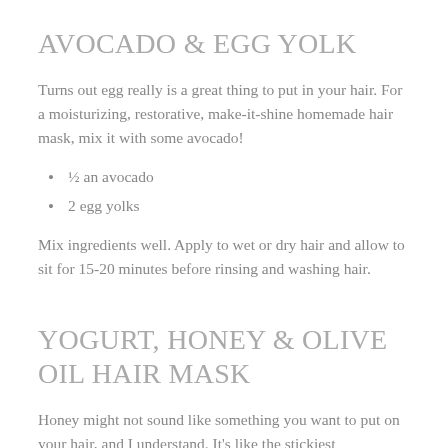AVOCADO & EGG YOLK
Turns out egg really is a great thing to put in your hair. For a moisturizing, restorative, make-it-shine homemade hair mask, mix it with some avocado!
½ an avocado
2 egg yolks
Mix ingredients well. Apply to wet or dry hair and allow to sit for 15-20 minutes before rinsing and washing hair.
YOGURT, HONEY & OLIVE OIL HAIR MASK
Honey might not sound like something you want to put on your hair, and I understand. It's like the stickiest